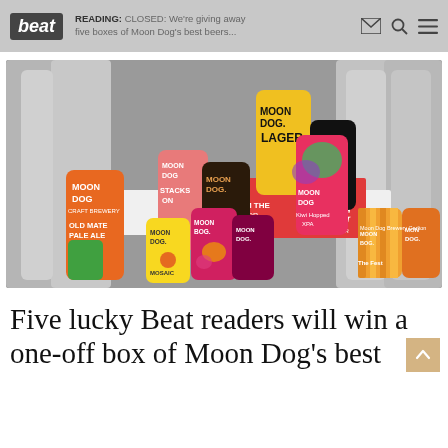beat | READING: CLOSED: We're giving away five boxes of Moon Dog's best beers...
[Figure (photo): Collection of Moon Dog craft beer cans including Lager, Stacks On, Kiwi Hopped XPA, Old Mate Pale Ale, Mosaic, Beer Hug, and other varieties displayed on and around a red cooler in a brewery setting with large metal tanks in the background.]
Five lucky Beat readers will win a one-off box of Moon Dog's best